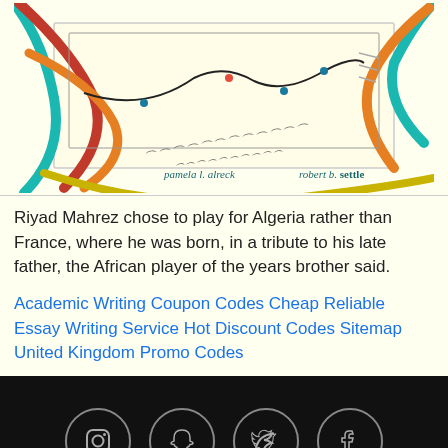[Figure (illustration): Book cover illustration showing a book with colorful diagonal lines (teal, orange/red, orange, yellow/green) emanating from it, with a graph line on the book surface, and author names 'pamela l. alreck' and 'robert b. settle' at the bottom.]
Riyad Mahrez chose to play for Algeria rather than France, where he was born, in a tribute to his late father, the African player of the years brother said.
Academic Writing Coupon Codes Cheap Reliable Essay Writing Service Hot Discount Codes Sitemap United Kingdom Promo Codes
[Figure (infographic): Footer with social media icons (Instagram, Snapchat, Twitter, Facebook) in circular borders on black background, followed by navigation links: Home, Services, About, Terms, Privacy Policy]
Home   Services   About   Terms
Privacy Policy